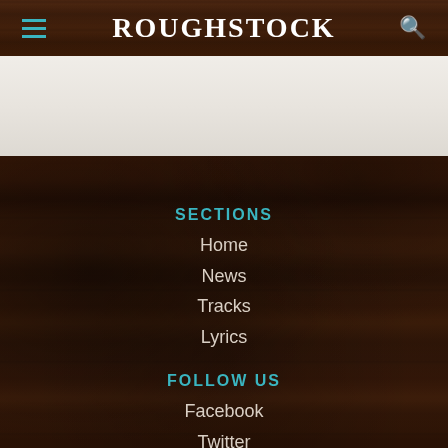ROUGHSTOCK
[Figure (screenshot): White/cream banner advertisement area]
SECTIONS
Home
News
Tracks
Lyrics
FOLLOW US
Facebook
Twitter
Instagram
Google+
YouTube